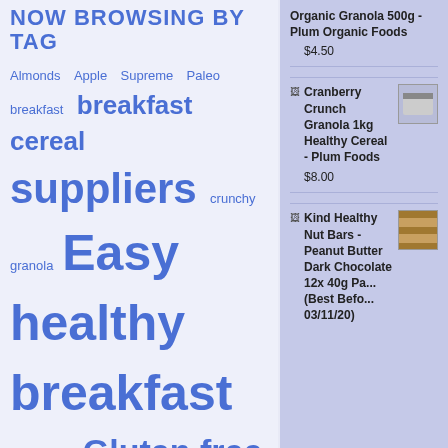NOW BROWSING BY TAG
Almonds  Apple  Supreme  Paleo  breakfast  breakfast  cereal  suppliers  crunchy  granola  Easy healthy breakfast  fresh fruit  Gluten free  gluten free cereal  Gluten Free Granola  GMO  granola  granola manufacturers  granola suppliers  great taste awards  Healthy Breakfast  healthy breakfast  cereal
Organic Granola 500g - Plum Organic Foods
$4.50
Cranberry Crunch Granola 1kg Healthy Cereal - Plum Foods
$8.00
Kind Healthy Nut Bars - Peanut Butter Dark Chocolate 12x 40g Pa... (Best Befo... 03/11/20)